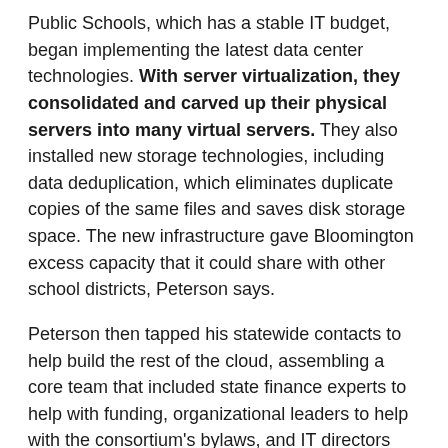Public Schools, which has a stable IT budget, began implementing the latest data center technologies. With server virtualization, they consolidated and carved up their physical servers into many virtual servers. They also installed new storage technologies, including data deduplication, which eliminates duplicate copies of the same files and saves disk storage space. The new infrastructure gave Bloomington excess capacity that it could share with other school districts, Peterson says.
Peterson then tapped his statewide contacts to help build the rest of the cloud, assembling a core team that included state finance experts to help with funding, organizational leaders to help with the consortium's bylaws, and IT directors from districts in northern and southern Illinois. Today, the data centers owned and operated by DeKalb School District 428, Belleville Township High School District 201 and Bloomington Public Schools host the cloud infrastructure on which